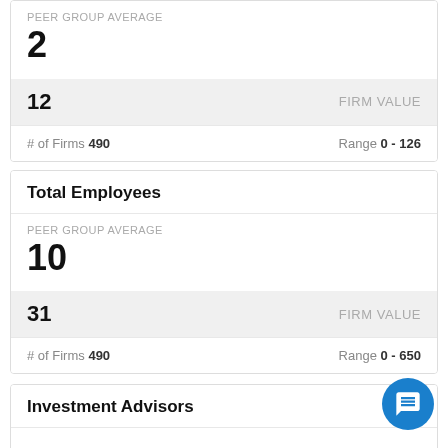PEER GROUP AVERAGE
2
12   FIRM VALUE
# of Firms 490   Range 0 - 126
Total Employees
PEER GROUP AVERAGE
10
31   FIRM VALUE
# of Firms 490   Range 0 - 650
Investment Advisors